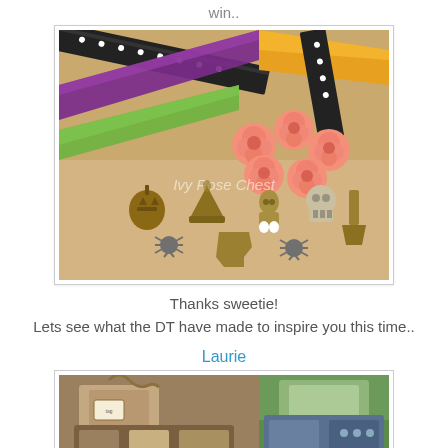win..
[Figure (photo): Halloween-themed craft photo showing colorful ribbons (purple, black with white dots, orange/yellow, green), pink/salmon paper roses, and small bronze/silver Halloween charms including pumpkin, witch hat, ghost, spider, and other shapes on a light wooden surface. Watermark reads 'Ivy Rose Chest'.]
Thanks sweetie!
Lets see what the DT have made to inspire you this time..
Laurie
[Figure (photo): Craft project photo showing decorative handmade items with burlap/twine details and a blue/brown distressed background with trees visible.]